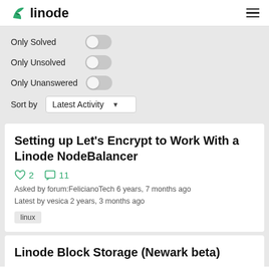linode
Only Solved
Only Unsolved
Only Unanswered
Sort by  Latest Activity
Setting up Let’s Encrypt to Work With a Linode NodeBalancer
2  11
Asked by forum:FelicianoTech 6 years, 7 months ago
Latest by vesica 2 years, 3 months ago
linux
Linode Block Storage (Newark beta)